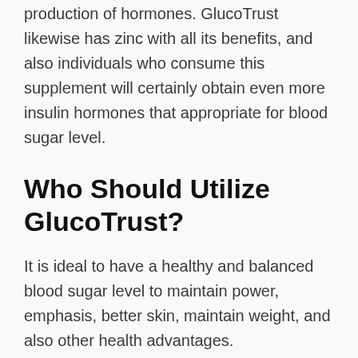production of hormones. GlucoTrust likewise has zinc with all its benefits, and also individuals who consume this supplement will certainly obtain even more insulin hormones that appropriate for blood sugar level.
Who Should Utilize GlucoTrust?
It is ideal to have a healthy and balanced blood sugar level to maintain power, emphasis, better skin, maintain weight, and also other health advantages. Nevertheless, not everyone can achieve this, which is why supplements like GlucoTrust have arised. There are lots of types of people who should make use of GlucoTrust, and